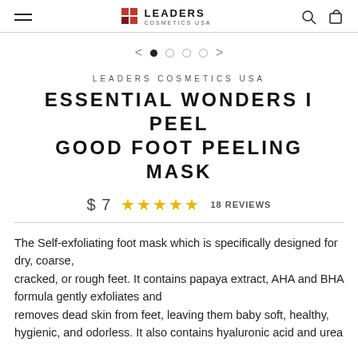LEADERS COSMETICS USA
< • ○ ○ ○ >
LEADERS COSMETICS USA
ESSENTIAL WONDERS I PEEL GOOD FOOT PEELING MASK
$ 7  ★★★★★ 18 REVIEWS
The Self-exfoliating foot mask which is specifically designed for dry, coarse, cracked, or rough feet. It contains papaya extract, AHA and BHA formula gently exfoliates and removes dead skin from feet, leaving them baby soft, healthy, hygienic, and odorless. It also contains hyaluronic acid and urea